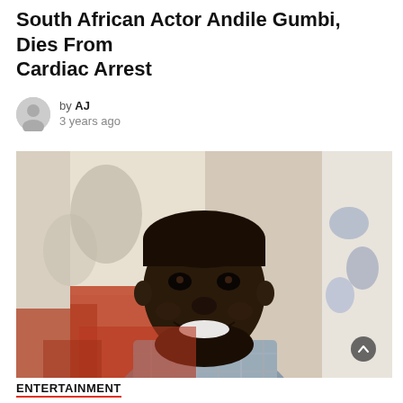South African Actor Andile Gumbi, Dies From Cardiac Arrest
by AJ
3 years ago
[Figure (photo): Portrait photo of a smiling man with a beard wearing a plaid shirt, with colorful abstract paintings in the background]
ENTERTAINMENT